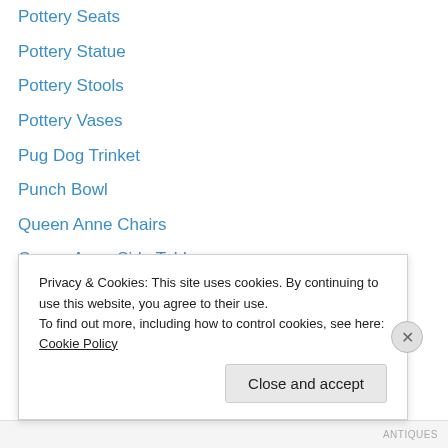Pottery Seats
Pottery Statue
Pottery Stools
Pottery Vases
Pug Dog Trinket
Punch Bowl
Queen Anne Chairs
Queen Anne Side Table
Queen Anne Sideboard
Queen Anne Table
Racing Cufflinks
Reclining Arm Chairs
Refectory Bench
Refectory Dining Table
Privacy & Cookies: This site uses cookies. By continuing to use this website, you agree to their use. To find out more, including how to control cookies, see here: Cookie Policy
Close and accept